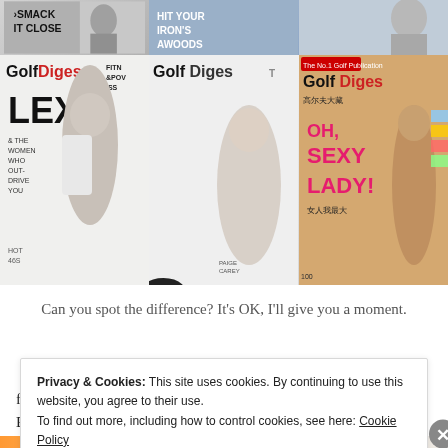[Figure (photo): Grid of magazine covers — top row shows partial covers with sports/golf themes, bottom row shows three Golf Digest magazine covers: one featuring Lexi Thompson in fitness theme, one with vertical GOLF text and female golfer, one Chinese edition with 'OH, SEXY LADY!' headline]
Can you spot the difference? It's OK, I'll give you a moment.
features golf pro Lexi Thompson on the cover. Excellent, you think, that's a shot in the arm for
Privacy & Cookies: This site uses cookies. By continuing to use this website, you agree to their use. To find out more, including how to control cookies, see here: Cookie Policy
Close and accept